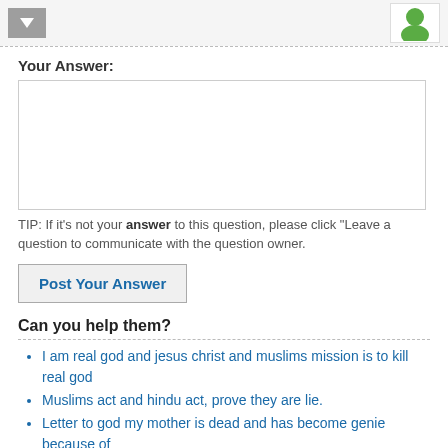[Figure (screenshot): Top bar with a grey download/arrow button on the left and a user avatar icon (green person on white background) on the right]
Your Answer:
[Figure (screenshot): Empty text area input box for typing an answer]
TIP: If it's not your answer to this question, please click "Leave a" question to communicate with the question owner.
Post Your Answer
Can you help them?
I am real god and jesus christ and muslims mission is to kill real god
Muslims act and hindu act, prove they are lie.
Letter to god my mother is dead and has become genie because of
Letter to God, Moses and Abraham please protect me keep me awa